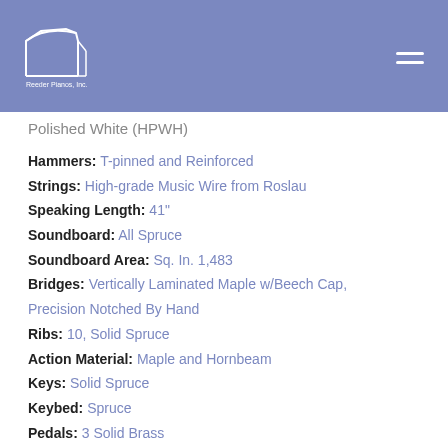Reeder Pianos, Inc.
Polished White (HPWH)
Hammers: T-pinned and Reinforced
Strings: High-grade Music Wire from Roslau
Speaking Length: 41"
Soundboard: All Spruce
Soundboard Area: Sq. In. 1,483
Bridges: Vertically Laminated Maple w/Beech Cap, Precision Notched By Hand
Ribs: 10, Solid Spruce
Action Material: Maple and Hornbeam
Keys: Solid Spruce
Keybed: Spruce
Pedals: 3 Solid Brass
Fallboard: Slow-Close (imported hydraulic)
Rim: Beech and Mercanti
Plate: Traditional Wet Sand Cast...